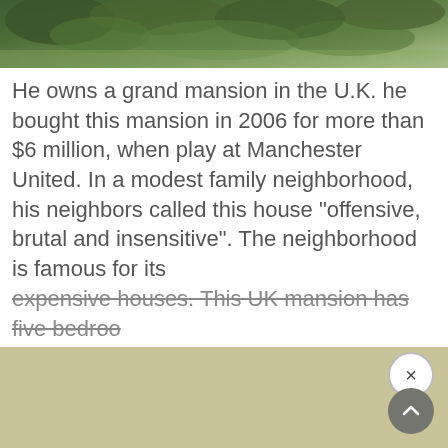[Figure (photo): Aerial or overhead view of green trees and grass, likely a garden or estate grounds photographed from above.]
He owns a grand mansion in the U.K. he bought this mansion in 2006 for more than $6 million, when play at Manchester United. In a modest family neighborhood, his neighbors called this house "offensive, brutal and insensitive". The neighborhood is famous for its expensive houses. This UK mansion has five bedroom